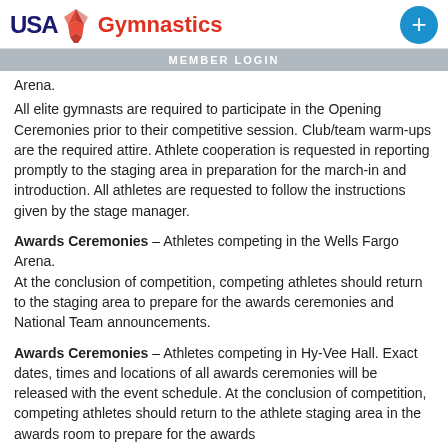USA Gymnastics | MEMBER LOGIN
Arena.
All elite gymnasts are required to participate in the Opening Ceremonies prior to their competitive session. Club/team warm-ups are the required attire. Athlete cooperation is requested in reporting promptly to the staging area in preparation for the march-in and introduction. All athletes are requested to follow the instructions given by the stage manager.
Awards Ceremonies – Athletes competing in the Wells Fargo Arena.
At the conclusion of competition, competing athletes should return to the staging area to prepare for the awards ceremonies and National Team announcements.
Awards Ceremonies – Athletes competing in Hy-Vee Hall. Exact dates, times and locations of all awards ceremonies will be released with the event schedule. At the conclusion of competition, competing athletes should return to the athlete staging area in the awards room to prepare for the awards